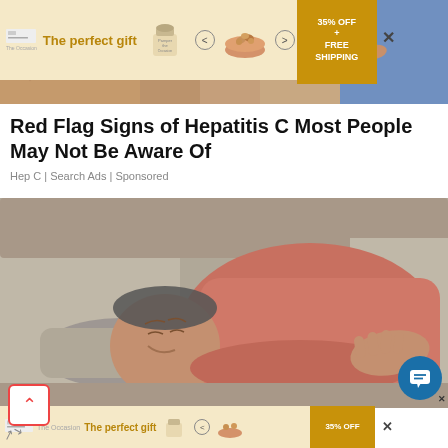[Figure (photo): Close-up of skin being examined, with a hand in blue glove visible at upper right]
[Figure (screenshot): Advertisement banner: 'The perfect gift' with product images and '35% OFF + FREE SHIPPING' in gold/amber colors]
Red Flag Signs of Hepatitis C Most People May Not Be Aware Of
Hep C | Search Ads | Sponsored
[Figure (photo): Older man in pink/red shirt lying on gray couch, grimacing and holding his abdomen in pain]
[Figure (screenshot): Second advertisement banner at bottom: 'The perfect gift' with '35% OFF' in gold/amber, partially visible]